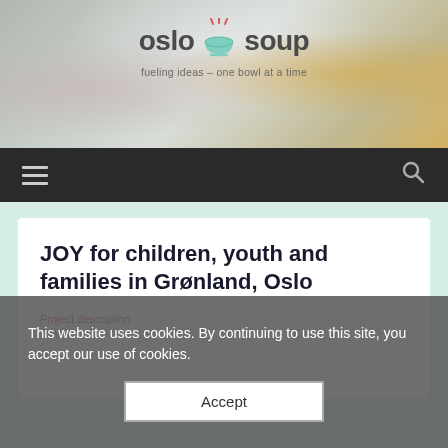[Figure (photo): Blurred food/soup background hero image]
oslo soup – fueling ideas – one bowl at a time
[Figure (other): Navigation bar with hamburger menu icon and search icon]
JOY for children, youth and families in Grønland, Oslo
Project description
JOY...
This website uses cookies. By continuing to use this site, you accept our use of cookies.
Accept